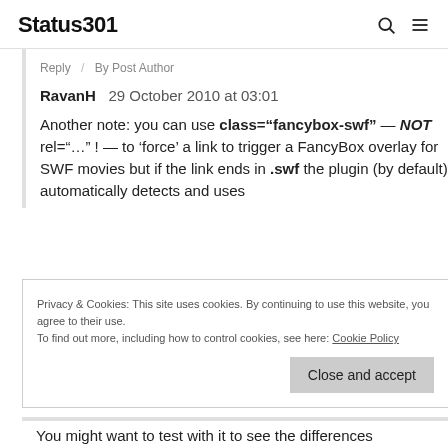Status301
Reply / By Post Author
RavanH   29 October 2010 at 03:01
Another note: you can use class="fancybox-swf" — NOT rel="..." ! — to 'force' a link to trigger a FancyBox overlay for SWF movies but if the link ends in .swf the plugin (by default) automatically detects and uses
Privacy & Cookies: This site uses cookies. By continuing to use this website, you agree to their use.
To find out more, including how to control cookies, see here: Cookie Policy
Close and accept
You might want to test with it to see the differences